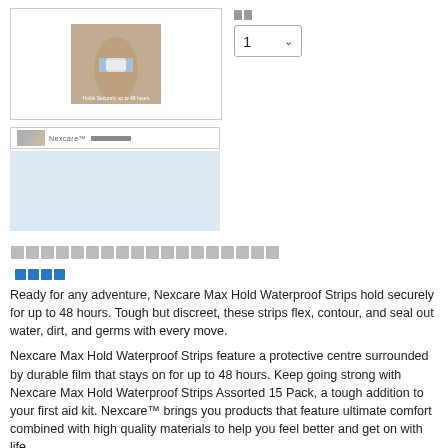[Figure (photo): Product photo of Nexcare Max Hold Waterproof Strips, showing bandage being applied to wrist/arm]
[Figure (screenshot): Quantity selector dropdown showing value 1 with dropdown arrow]
[Figure (screenshot): Thumbnail row with small product image and label text]
[Figure (other): Light blue information/details box]
□□□□□□□□□□□□□□□□□□
□□□□
Ready for any adventure, Nexcare Max Hold Waterproof Strips hold securely for up to 48 hours. Tough but discreet, these strips flex, contour, and seal out water, dirt, and germs with every move.

Nexcare Max Hold Waterproof Strips feature a protective centre surrounded by durable film that stays on for up to 48 hours. Keep going strong with Nexcare Max Hold Waterproof Strips Assorted 15 Pack, a tough addition to your first aid kit. Nexcare™ brings you products that feature ultimate comfort combined with high quality materials to help you feel better and get on with life.

Suitable For: Cuts and grazes, scrapes, blisters and minor burns

Boxed Contents: 15 strips